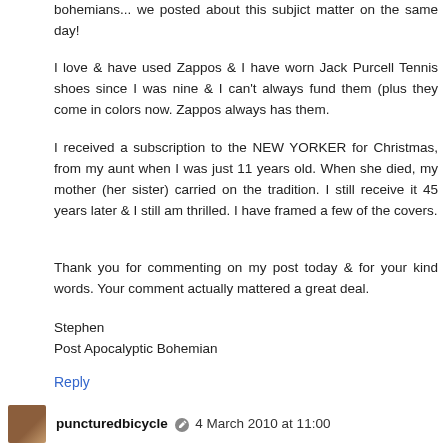bohemians... we posted about this subjict matter on the same day!
I love & have used Zappos & I have worn Jack Purcell Tennis shoes since I was nine & I can't always fund them (plus they come in colors now. Zappos always has them.
I received a subscription to the NEW YORKER for Christmas, from my aunt when I was just 11 years old. When she died, my mother (her sister) carried on the tradition. I still receive it 45 years later & I still am thrilled. I have framed a few of the covers.
Thank you for commenting on my post today & for your kind words. Your comment actually mattered a great deal.
Stephen
Post Apocalyptic Bohemian
Reply
puncturedbicycle  4 March 2010 at 11:00